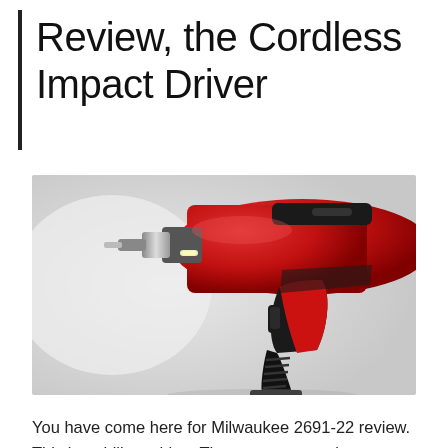Review, the Cordless Impact Driver
[Figure (photo): Close-up photo of a red and black cordless impact driver / drill machine against a light grey background]
You have come here for Milwaukee 2691-22 review. This is a drill machine. There are many advantages in this drill. This impact driver is cordless and this is the most advantageous side of the drill. The main work of this saw is screw fitting in the wood, steel, wall, iron part, and